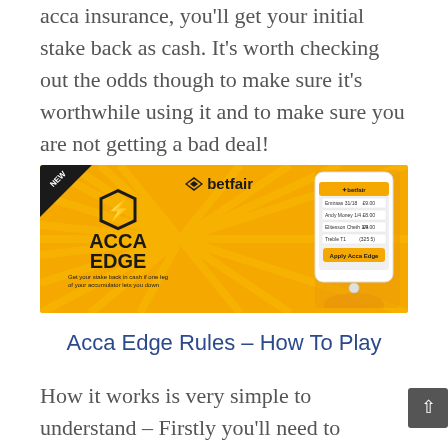acca insurance, you'll get your initial stake back as cash. It's worth checking out the odds though to make sure it's worthwhile using it and to make sure you are not getting a bad deal!
[Figure (photo): Betfair Acca Edge promotional banner with yellow background, showing the Acca Edge logo with lightning bolt in hexagon, the text 'ACCA EDGE' in bold black, subtitle 'Get your stake back in cash if one leg of your accumulator lets you down', Betfair logo top right, and a hand holding a smartphone displaying the Betfair app with 'Apply Acca Edge' button. A 'NEW' badge is in the top left corner.]
Acca Edge Rules – How To Play
How it works is very simple to understand – Firstly you'll need to make your selections for the bet, you must include